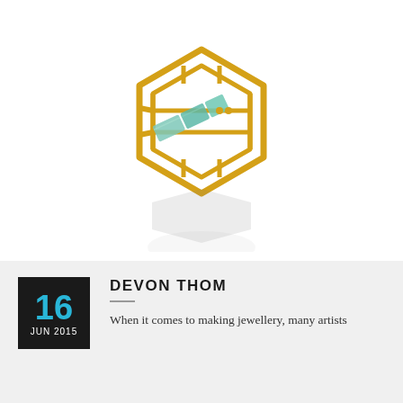[Figure (photo): A geometric gold ring with hexagonal cage-like structure containing green/teal gemstones, shown with a reflection below on white background]
16 JUN 2015
DEVON THOM
When it comes to making jewellery, many artists